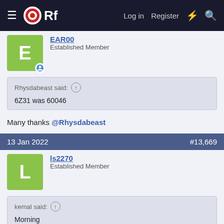ORf — Log in  Register
EAR00
Established Member
Rhysdabeast said: ↑
6Z31 was 60046
Many thanks @Rhysdabeast
13 Jan 2022  #13,669
ls2270
Established Member
kemal said: ↑
Morning